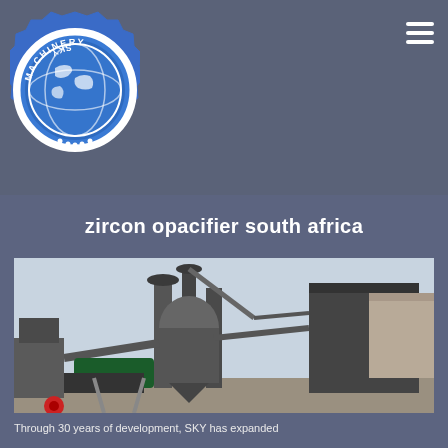[Figure (logo): SKY Machinery circular logo with globe graphic, blue background with white ring border, text 'SKY MACHINERY' around the edge and dots at the bottom]
zircon opacifier south africa
[Figure (photo): Industrial machinery photograph showing grinding/milling equipment with large cylindrical dust collectors, pipes, and conveyor systems at an outdoor industrial facility]
Through 30 years of development, SKY has expanded